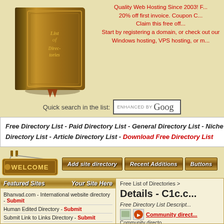[Figure (illustration): Old leather book with 'List of Directories' embossed on cover with ribbon bookmark]
Quality Web Hosting Since 2003! F... 20% off first invoice. Coupon C... Claim this free off... Start by registering a domain, or check out our Windows hosting, VPS hosting, or m...
Quick search in the list: [ENHANCED BY Google search box]
Free Directory List - Paid Directory List - General Directory List - Niche Directory List - Article Directory List - Download Free Directory List
[Figure (illustration): Welcome sign hanging on wooden post]
Add site directory | Recent Additions | Buttons
| Featured Sites | Your Site Here |
| --- | --- |
| Bhanvad.com - International website directory - Submit |  |
| Human Edited Directory - Submit |  |
| Submit Link to Links Directory - Submit |  |
Free List of Directories >
Details - C1c.c...
Free Directory List Descript...
Community direct... Community directo...